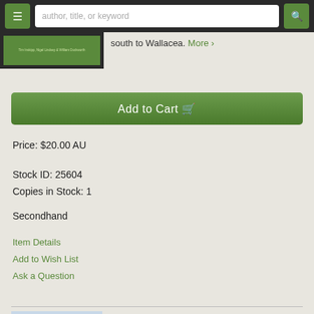author, title, or keyword
south to Wallacea. More ›
Add to Cart
Price: $20.00 AU
Stock ID: 25604
Copies in Stock: 1
Secondhand
Item Details
Add to Wish List
Ask a Question
[Figure (photo): Book cover thumbnail at bottom of page]
Avian systematics and taxonomy.
Monk, J. F., editor.